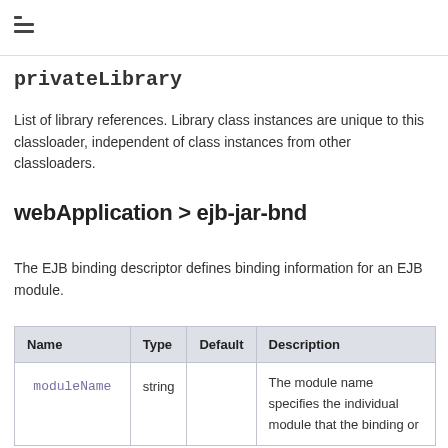≡ (navigation icon)
privateLibrary
List of library references. Library class instances are unique to this classloader, independent of class instances from other classloaders.
webApplication > ejb-jar-bnd
The EJB binding descriptor defines binding information for an EJB module.
| Name | Type | Default | Description |
| --- | --- | --- | --- |
| moduleName | string |  | The module name specifies the individual module that the binding or |